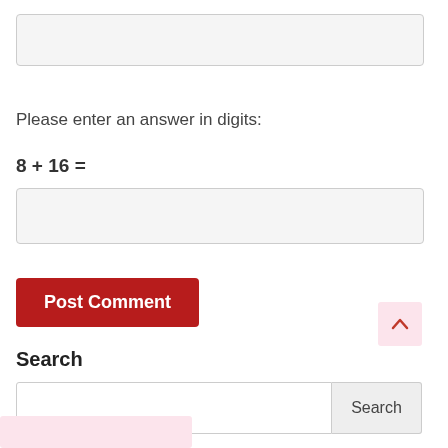[Figure (screenshot): A text input field (empty, light gray background) at the top of the page]
Please enter an answer in digits:
[Figure (screenshot): An empty text input field (light gray background) for the math answer]
[Figure (screenshot): A red 'Post Comment' button]
Search
[Figure (screenshot): A search input field and a 'Search' button side by side]
[Figure (screenshot): An upward arrow icon button (light pink/red background) in the lower right]
[Figure (screenshot): A partially visible red/pink button at the bottom left corner]